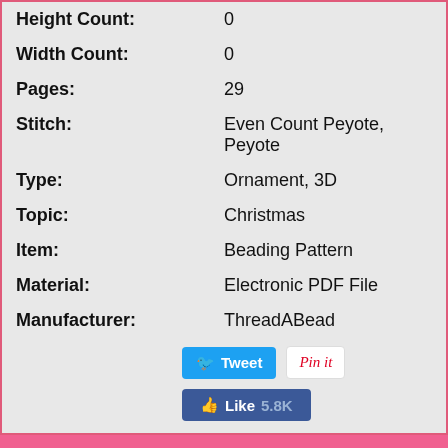| Height Count: | 0 |
| Width Count: | 0 |
| Pages: | 29 |
| Stitch: | Even Count Peyote, Peyote |
| Type: | Ornament, 3D |
| Topic: | Christmas |
| Item: | Beading Pattern |
| Material: | Electronic PDF File |
| Manufacturer: | ThreadABead |
Tweet | Pin it | Like 5.8K
$11.00
Add To Basket
Print Pattern? + $3.48
Yes, Print My Pattern